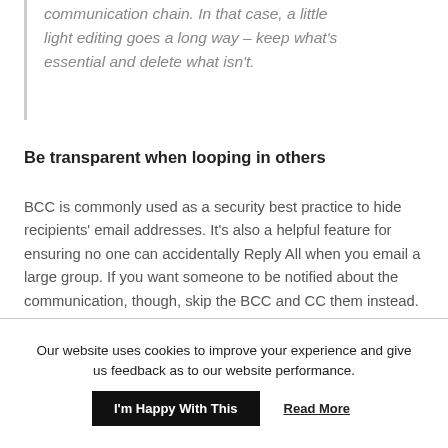communication chain. In that case, a little light editing goes a long way – keep what's essential and delete what isn't.
Be transparent when looping in others
BCC is commonly used as a security best practice to hide recipients' email addresses. It's also a helpful feature for ensuring no one can accidentally Reply All when you email a large group. If you want someone to be notified about the communication, though, skip the BCC and CC them instead. Whether you're looping in your boss or a coworker, transparency will always benefit you.
Our website uses cookies to improve your experience and give us feedback as to our website performance.